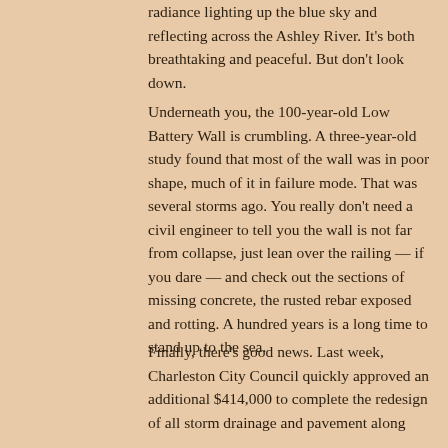radiance lighting up the blue sky and reflecting across the Ashley River. It's both breathtaking and peaceful. But don't look down.
Underneath you, the 100-year-old Low Battery Wall is crumbling. A three-year-old study found that most of the wall was in poor shape, much of it in failure mode. That was several storms ago. You really don't need a civil engineer to tell you the wall is not far from collapse, just lean over the railing — if you dare — and check out the sections of missing concrete, the rusted rebar exposed and rotting. A hundred years is a long time to stand up to the sea.
Finally, there's good news. Last week, Charleston City Council quickly approved an additional $414,000 to complete the redesign of all storm drainage and pavement along